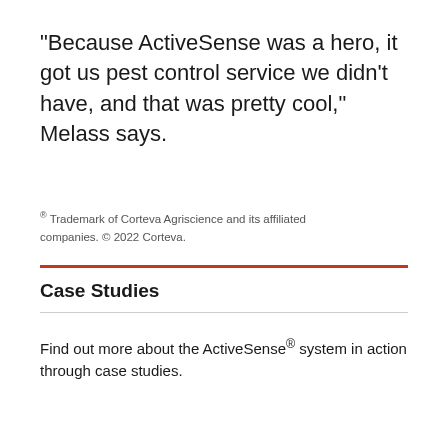“Because ActiveSense was a hero, it got us pest control service we didn’t have, and that was pretty cool,” Melass says.
® Trademark of Corteva Agriscience and its affiliated companies. © 2022 Corteva.
Case Studies
Find out more about the ActiveSense® system in action through case studies.